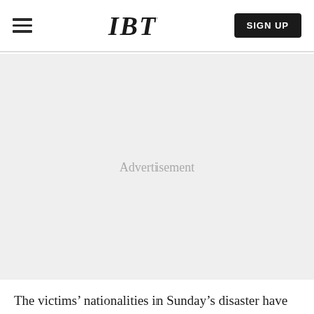IBT | SIGN UP
[Figure (other): Advertisement placeholder area with light gray background and centered 'Advertisement' label text]
The victims' nationalities in Sunday's disaster have